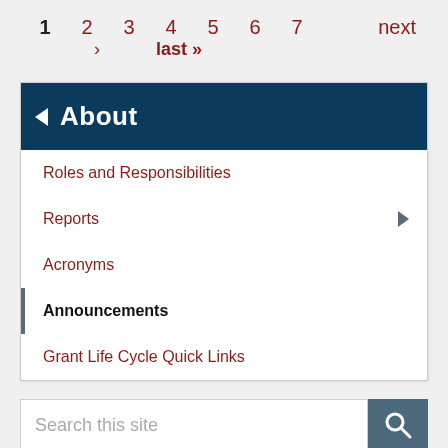1  2  3  4  5  6  7  next
›  last »
About
Roles and Responsibilities
Reports
Acronyms
Announcements
Grant Life Cycle Quick Links
Search this site